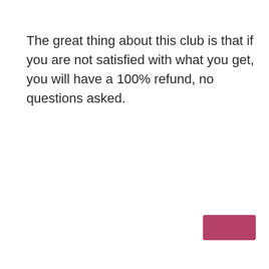The great thing about this club is that if you are not satisfied with what you get, you will have a 100% refund, no questions asked.
[Figure (other): Small dark pink/crimson rectangular button or UI element in the bottom-right corner of the page]